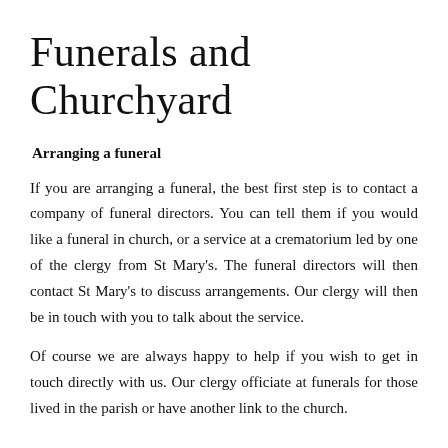Funerals and Churchyard
Arranging a funeral
If you are arranging a funeral, the best first step is to contact a company of funeral directors. You can tell them if you would like a funeral in church, or a service at a crematorium led by one of the clergy from St Mary's. The funeral directors will then contact St Mary's to discuss arrangements. Our clergy will then be in touch with you to talk about the service.
Of course we are always happy to help if you wish to get in touch directly with us. Our clergy officiate at funerals for those lived in the parish or have another link to the church.